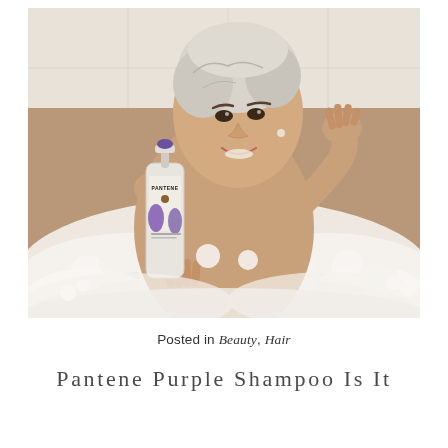[Figure (photo): A middle-aged woman with short silver/white hair sitting in a bubble bath, smiling and holding up a white Pantene shampoo bottle with purple accents. She is in a bathtub filled with white foam bubbles, photographed from slightly above.]
Posted in Beauty, Hair
Pantene Purple Shampoo Is It